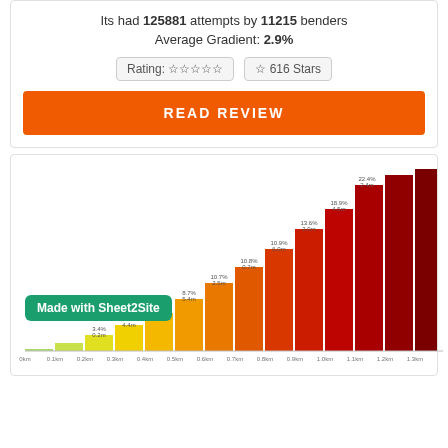Its had 125881 attempts by 11215 benders
Average Gradient: 2.9%
Rating: ☆☆☆☆☆  ☆ 616 Stars
READ REVIEW
[Figure (bar-chart): Elevation gradient chart showing increasing gradient segments from 0km to 1.3km, color-coded from green/yellow at low gradients to deep red at high gradients. Segment labels show gradient percentages and distances. Values range from near 0% at start to 22.4% at 1.3km.]
Made with Sheet2Site